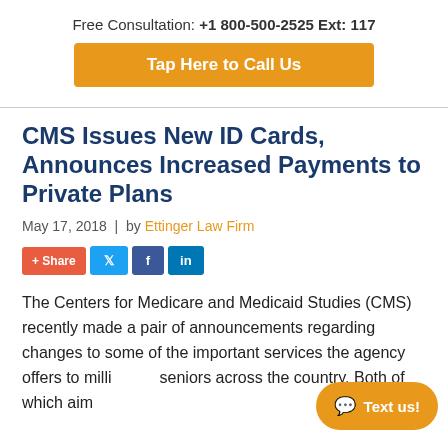Free Consultation: +1 800-500-2525 Ext: 117
Tap Here to Call Us
CMS Issues New ID Cards, Announces Increased Payments to Private Plans
May 17, 2018 | by Ettinger Law Firm
[Figure (other): Social share buttons: + Share, Twitter, Facebook, LinkedIn]
The Centers for Medicare and Medicaid Studies (CMS) recently made a pair of announcements regarding changes to some of the important services the agency offers to millions of seniors across the country. Both of which aim